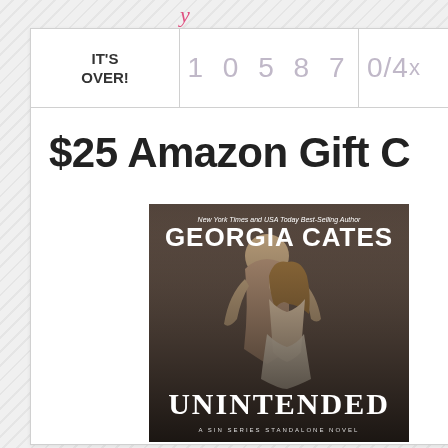y
| IT'S OVER! | 10587 | 0/4x |
| --- | --- | --- |
$25 Amazon Gift C
[Figure (photo): Book cover of 'Unintended' by Georgia Cates — a Sin Series Standalone Novel. New York Times and USA Today Best-Selling Author. Shows a couple embracing.]